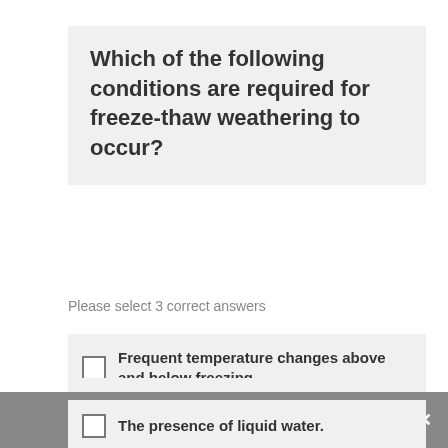Which of the following conditions are required for freeze-thaw weathering to occur?
Please select 3 correct answers
Frequent temperature changes above and below freezing.
Temperatures constantly below freezing.
The presence of liquid water.